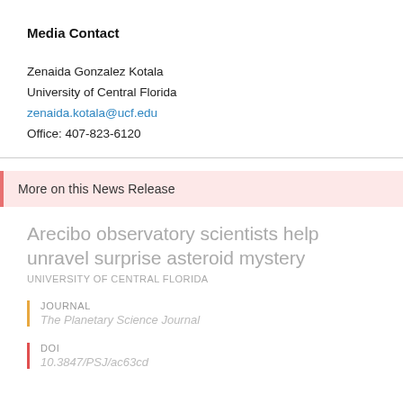Media Contact
Zenaida Gonzalez Kotala
University of Central Florida
zenaida.kotala@ucf.edu
Office: 407-823-6120
More on this News Release
Arecibo observatory scientists help unravel surprise asteroid mystery
UNIVERSITY OF CENTRAL FLORIDA
JOURNAL
The Planetary Science Journal
DOI
10.3847/PSJ/ac63cd